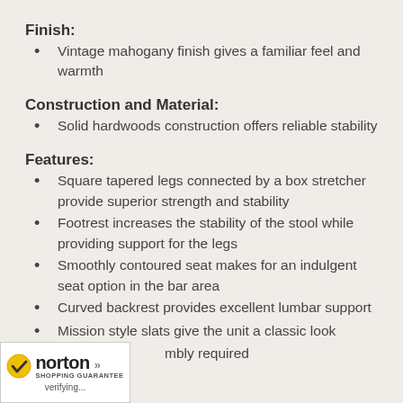Finish:
Vintage mahogany finish gives a familiar feel and warmth
Construction and Material:
Solid hardwoods construction offers reliable stability
Features:
Square tapered legs connected by a box stretcher provide superior strength and stability
Footrest increases the stability of the stool while providing support for the legs
Smoothly contoured seat makes for an indulgent seat option in the bar area
Curved backrest provides excellent lumbar support
Mission style slats give the unit a classic look
Assembly required
[Figure (logo): Norton Shopping Guarantee badge with checkmark, brand name, and verifying text]